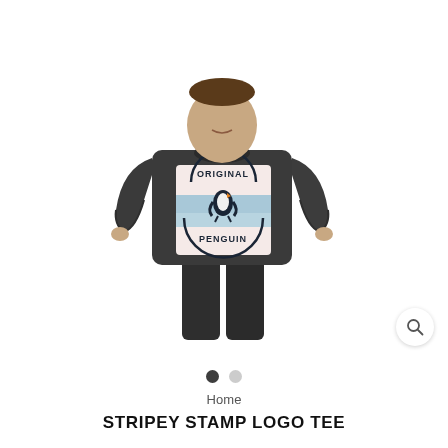[Figure (photo): Man wearing a dark charcoal heather grey crewneck t-shirt with 'Original Penguin' stamp logo graphic on chest, paired with dark grey jogger pants, white background]
Home
STRIPEY STAMP LOGO TEE